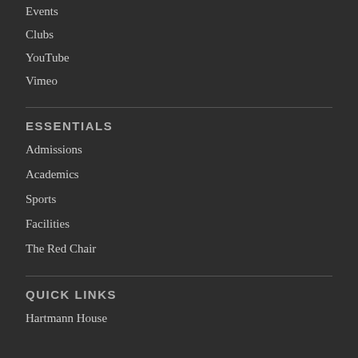Events
Clubs
YouTube
Vimeo
ESSENTIALS
Admissions
Academics
Sports
Facilities
The Red Chair
QUICK LINKS
Hartmann House